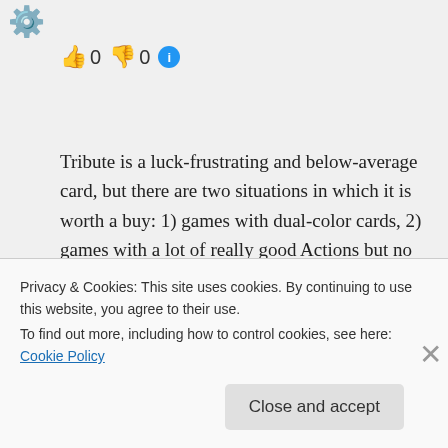[Figure (illustration): Gear/settings emoji icon in top left corner]
👍 0 👎 0 ℹ
Tribute is a luck-frustrating and below-average card, but there are two situations in which it is worth a buy: 1) games with dual-color cards, 2) games with a lot of really good Actions but no reliable Village.

As for the best $5s, I think Mountebank and Minion absolutely have to be the top two. I'd probably put Tactician and Vault on
Privacy & Cookies: This site uses cookies. By continuing to use this website, you agree to their use.
To find out more, including how to control cookies, see here: Cookie Policy
Close and accept